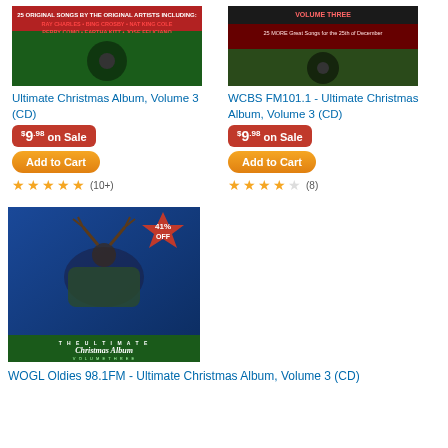[Figure (photo): Album cover for Ultimate Christmas Album Volume 3 CD - green/red Christmas themed cover with text listing artists: Ray Charles, Bing Crosby, Nat King Cole, Perry Como, Eartha Kitt, Jose Feliciano]
Ultimate Christmas Album, Volume 3 (CD)
$9.98 on Sale
Add to Cart
(10+)
[Figure (photo): Album cover for WCBS FM101.1 Ultimate Christmas Album Volume 3 CD - dark red/green cover with text: VOLUME THREE, 25 MORE Great Songs for the 25th of December]
WCBS FM101.1 - Ultimate Christmas Album, Volume 3 (CD)
$9.98 on Sale
Add to Cart
(8)
[Figure (photo): Album cover for WOGL Oldies 98.1FM Ultimate Christmas Album Volume 3 CD with 41% OFF badge - blue/green cover with reindeer illustration, text: THE ULTIMATE Christmas Album VOLUME THREE, 35 MORE Great Songs for the 25th of December]
WOGL Oldies 98.1FM - Ultimate Christmas Album, Volume 3 (CD)